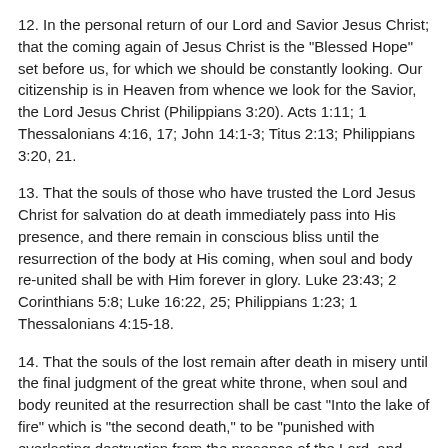12. In the personal return of our Lord and Savior Jesus Christ; that the coming again of Jesus Christ is the "Blessed Hope" set before us, for which we should be constantly looking. Our citizenship is in Heaven from whence we look for the Savior, the Lord Jesus Christ (Philippians 3:20). Acts 1:11; 1 Thessalonians 4:16, 17; John 14:1-3; Titus 2:13; Philippians 3:20, 21.
13. That the souls of those who have trusted the Lord Jesus Christ for salvation do at death immediately pass into His presence, and there remain in conscious bliss until the resurrection of the body at His coming, when soul and body re-united shall be with Him forever in glory. Luke 23:43; 2 Corinthians 5:8; Luke 16:22, 25; Philippians 1:23; 1 Thessalonians 4:15-18.
14. That the souls of the lost remain after death in misery until the final judgment of the great white throne, when soul and body reunited at the resurrection shall be cast "Into the lake of fire" which is "the second death," to be "punished with everlasting destruction from the presence of the Lord, and from the glory of His power" (2 Thessalonians 1:8, 9). Luke 16:22-23, 27-28; Hebrews 9:27; Revelation